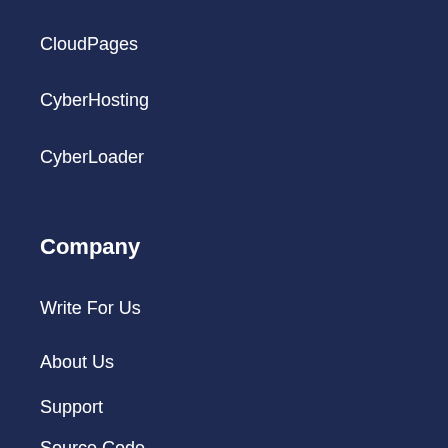CloudPages
CyberHosting
CyberLoader
Company
Write For Us
About Us
Support
Source Code
Privacy Poli…